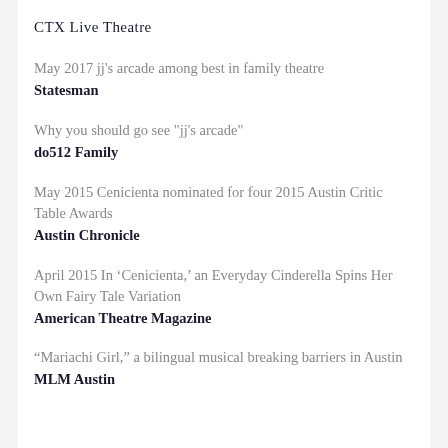CTX Live Theatre
May 2017 jj's arcade among best in family theatre
Statesman
Why you should go see "jj's arcade"
do512 Family
May 2015 Cenicienta nominated for four 2015 Austin Critic Table Awards
Austin Chronicle
April 2015 In ‘Cenicienta,’ an Everyday Cinderella Spins Her Own Fairy Tale Variation
American Theatre Magazine
“Mariachi Girl,” a bilingual musical breaking barriers in Austin
MLM Austin